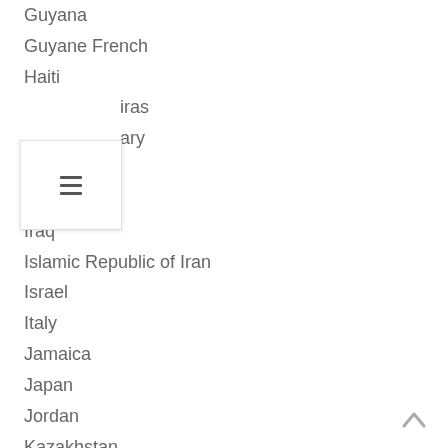Guyana
Guyane French
Haiti
Honduras
Hungary
India
Indonesia
Iraq
Islamic Republic of Iran
Israel
Italy
Jamaica
Japan
Jordan
Kazakhstan
Kenya
Kiribati
Korea
Kuwait
Kyrgyzstan
Lao People's Democratic Republic
Latvia